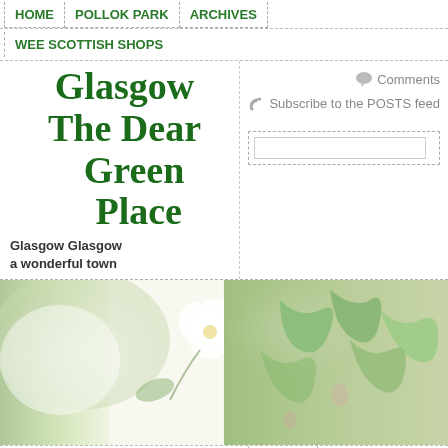HOME  POLLOK PARK  ARCHIVES
WEE SCOTTISH SHOPS
Glasgow The Dear Green Place
Glasgow Glasgow a wonderful town
Comments  Subscribe to the POSTS feed
[Figure (photo): Photo of white flower and green leaves/foliage, split into two panels]
Wee Scottish Shops
Archives
Pollok Park
Recent Posts
Great Return March
hoes a go go